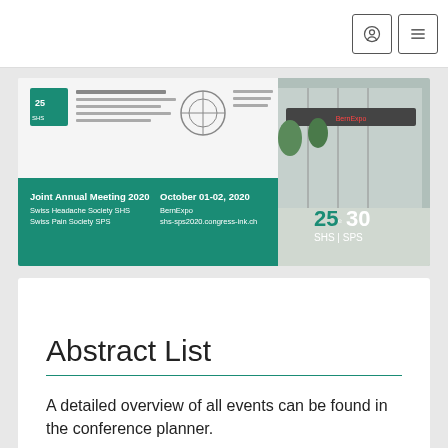[Figure (photo): Banner for Joint Annual Meeting 2020, Swiss Headache Society SHS and Swiss Pain Society SPS. Shows conference logos, text with event details (October 01-02, 2020, BernExpo, shs-sps2020.congress-ink.ch), and a photo of BernExpo building exterior. Green banner with white text. 25th/30th anniversary logo SHS|SPS.]
Abstract List
A detailed overview of all events can be found in the conference planner.
Conference planner